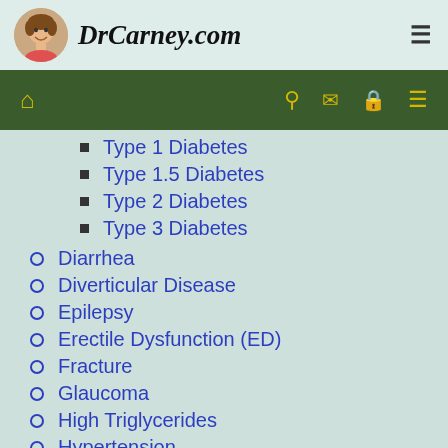DrCarney.com
Type 1 Diabetes
Type 1.5 Diabetes
Type 2 Diabetes
Type 3 Diabetes
Diarrhea
Diverticular Disease
Epilepsy
Erectile Dysfunction (ED)
Fracture
Glaucoma
High Triglycerides
Hypertension
Inflammatory Bowel Disease (IBD)
Infertility
Insulin Resistance